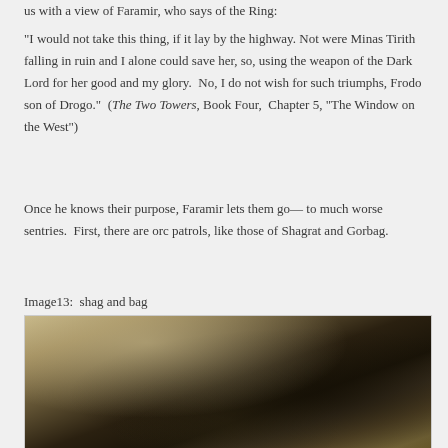us with a view of Faramir, who says of the Ring:
“I would not take this thing, if it lay by the highway. Not were Minas Tirith falling in ruin and I alone could save her, so, using the weapon of the Dark Lord for her good and my glory.  No, I do not wish for such triumphs, Frodo son of Drogo.”  (The Two Towers, Book Four,  Chapter 5, “The Window on the West”)
Once he knows their purpose, Faramir lets them go—to much worse sentries.  First, there are orc patrols, like those of Shagrat and Gorbag.
Image13:  shag and bag
[Figure (photo): A dark, close-up photograph showing what appears to be orc or creature figures from The Lord of the Rings, with dark shadowy tones and textured fur/hide surfaces visible.]